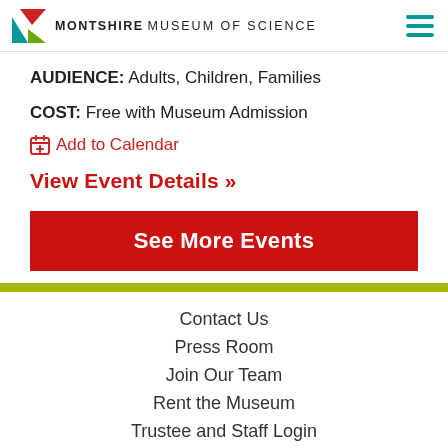MONTSHIRE MUSEUM OF SCIENCE
AUDIENCE: Adults, Children, Families
COST: Free with Museum Admission
Add to Calendar
View Event Details >>
See More Events
Contact Us
Press Room
Join Our Team
Rent the Museum
Trustee and Staff Login
Visit
Calendar
Become a Member